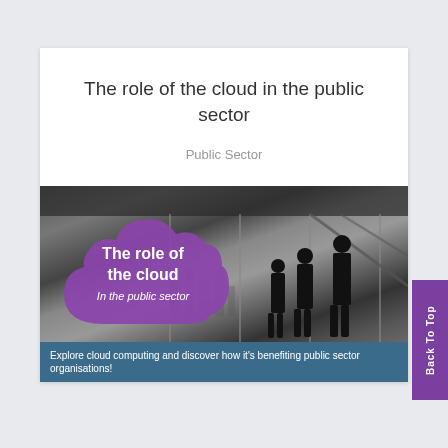The role of the cloud in the public sector
Public Sector
[Figure (illustration): Black and white photograph of silhouetted people standing in a large windowed room with a city skyline view, overlaid with a purple cloud shape containing the text 'The role of the cloud In the public sector']
Explore cloud computing and discover how it's benefiting public sector organisations!